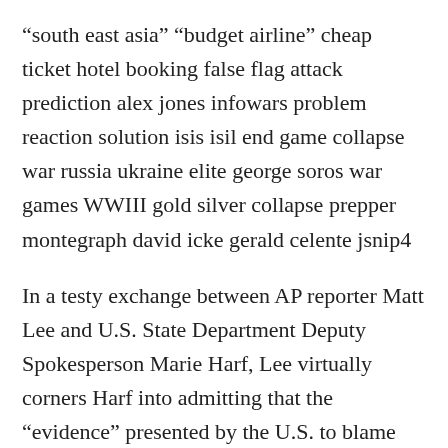“south east asia” “budget airline” cheap ticket hotel booking false flag attack prediction alex jones infowars problem reaction solution isis isil end game collapse war russia ukraine elite george soros war games WWIII gold silver collapse prepper montegraph david icke gerald celente jsnip4
In a testy exchange between AP reporter Matt Lee and U.S. State Department Deputy Spokesperson Marie Harf, Lee virtually corners Harf into admitting that the “evidence” presented by the U.S. to blame Russian-backed rebels for the shoot down of Malaysia Airlines Flight 17 amounts to nothing more than YouTube videos and social media posts. A Ukrainian air force Su-25 combat jet took off from an airbase in eastern Dnipropetrovsk carrying air-to-air missiles and returned without them on the day a Malaysia Airlines plane crashed in eastern Ukraine in July, Komsomolskaya Pravda newspaper reported, citing an airbase